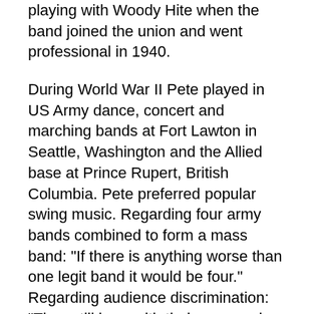playing with Woody Hite when the band joined the union and went professional in 1940.
During World War II Pete played in US Army dance, concert and marching bands at Fort Lawton in Seattle, Washington and the Allied base at Prince Rupert, British Columbia. Pete preferred popular swing music. Regarding four army bands combined to form a mass band: "If there is anything worse than one legit band it would be four." Regarding audience discrimination: "They still hear with their eyes and not their ears." And the benefits of trumpets: â€œThe trumpet is good for one thing though. Its a fine way to escape from the Army. At least it something they can"t tell me how to do."
Ferdinand"s Teaching and Latter Years
With Ferdinand"s numerous string and brass